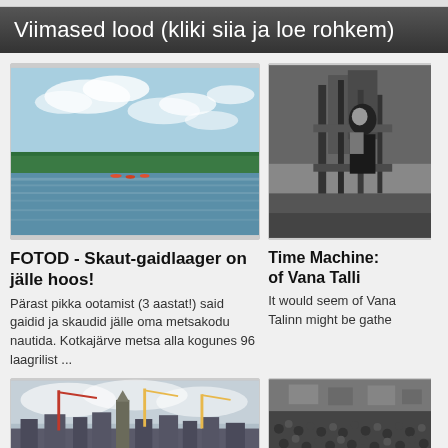Viimased lood (kliki siia ja loe rohkem)
[Figure (photo): Lake scene with forest in background, calm water, blue sky with clouds, people kayaking in the distance]
FOTOD - Skaut-gaidlaager on jälle hoos!
Pärast pikka ootamist (3 aastat!) said gaidid ja skaudid jälle oma metsakodu nautida. Kotkajärve metsa alla kogunes 96 laagrilist ...
[Figure (photo): Black and white historical photo of a person on what appears to be a ship or industrial setting]
Time Machine: of Vana Talli
It would seem of Vana Talinn might be gathe
[Figure (photo): City skyline with cranes and a tower, overcast sky]
[Figure (photo): Black and white crowd photo]